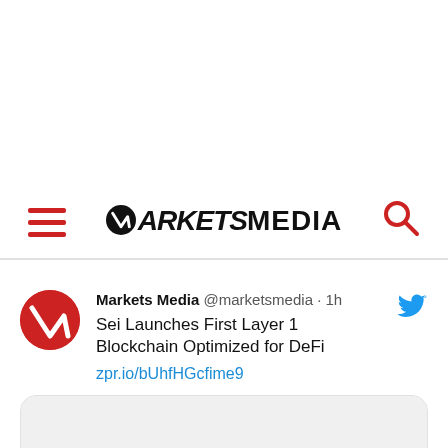MARKETSMEDIA
Markets Media @marketsmedia · 1h
Sei Launches First Layer 1 Blockchain Optimized for DeFi
zpr.io/bUhfHGcfime9
[Figure (screenshot): Link preview card with rounded border, empty image area and marketsmedia.com footer]